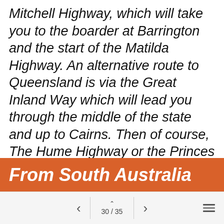Mitchell Highway, which will take you to the boarder at Barrington and the start of the Matilda Highway. An alternative route to Queensland is via the Great Inland Way which will lead you through the middle of the state and up to Cairns. Then of course, The Hume Highway or the Princes Highway (coastal route) are also great options.
From South Australia
30 / 35